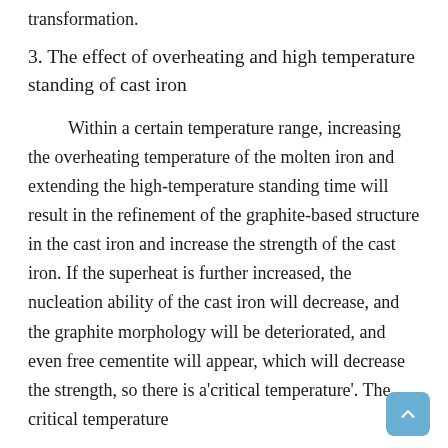transformation.
3. The effect of overheating and high temperature standing of cast iron
Within a certain temperature range, increasing the overheating temperature of the molten iron and extending the high-temperature standing time will result in the refinement of the graphite-based structure in the cast iron and increase the strength of the cast iron. If the superheat is further increased, the nucleation ability of the cast iron will decrease, and the graphite morphology will be deteriorated, and even free cementite will appear, which will decrease the strength, so there is a'critical temperature'. The critical temperature